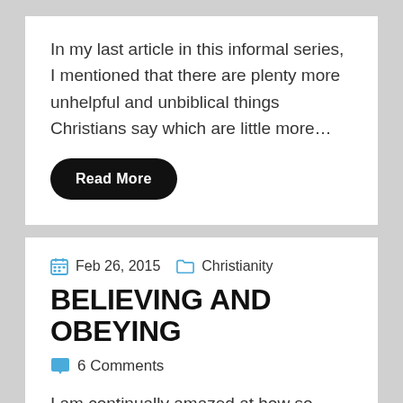In my last article in this informal series, I mentioned that there are plenty more unhelpful and unbiblical things Christians say which are little more…
Read More
Feb 26, 2015   Christianity
BELIEVING AND OBEYING
6 Comments
I am continually amazed at how so many Christians will simply run with whatever their favourite preacher or megachurch pastor runs with, instead of actually…